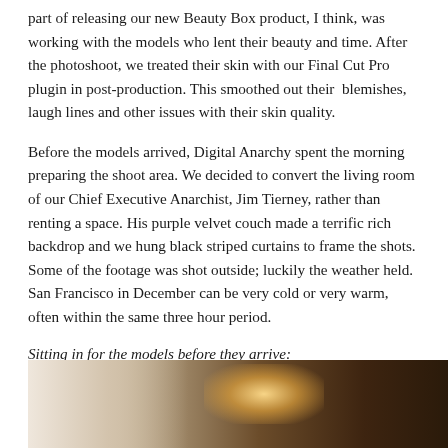part of releasing our new Beauty Box product, I think, was working with the models who lent their beauty and time. After the photoshoot, we treated their skin with our Final Cut Pro plugin in post-production. This smoothed out their  blemishes, laugh lines and other issues with their skin quality.
Before the models arrived, Digital Anarchy spent the morning preparing the shoot area. We decided to convert the living room of our Chief Executive Anarchist, Jim Tierney, rather than renting a space. His purple velvet couch made a terrific rich backdrop and we hung black striped curtains to frame the shots. Some of the footage was shot outside; luckily the weather held. San Francisco in December can be very cold or very warm, often within the same three hour period.
Sitting in for the models before they arrive:
[Figure (photo): A photo showing a photoshoot setup with soft lighting equipment/reflectors on the left and a dark wooden backdrop on the right, with warm golden light visible in the center.]